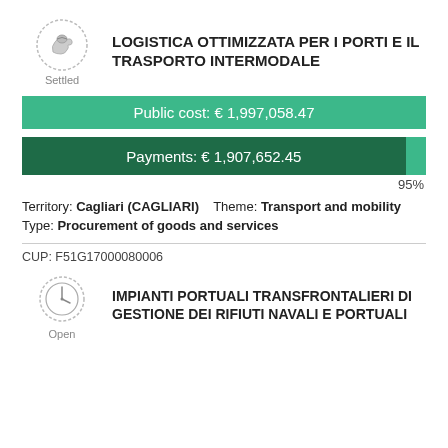[Figure (logo): Settled status badge icon with hand/coin graphic]
LOGISTICA OTTIMIZZATA PER I PORTI E IL TRASPORTO INTERMODALE
Public cost: € 1,997,058.47
[Figure (bar-chart): Horizontal progress bar showing payments at 95%]
95%
Territory: Cagliari (CAGLIARI)    Theme: Transport and mobility    Type: Procurement of goods and services
CUP: F51G17000080006
[Figure (logo): Open status badge icon with clock graphic]
IMPIANTI PORTUALI TRANSFRONTALIERI DI GESTIONE DEI RIFIUTI NAVALI E PORTUALI